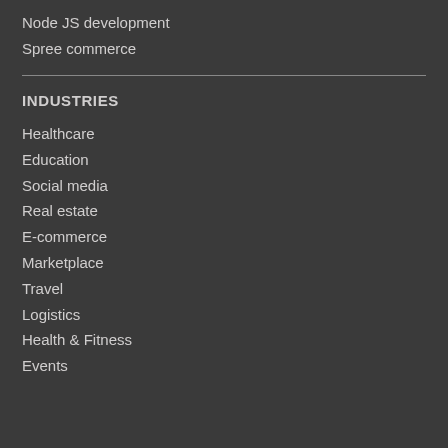Node JS development
Spree commerce
INDUSTRIES
Healthcare
Education
Social media
Real estate
E-commerce
Marketplace
Travel
Logistics
Health & Fitness
Events